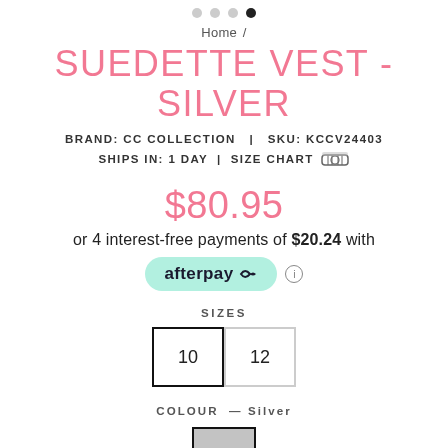[Figure (other): Carousel navigation dots, four dots with the fourth (rightmost) filled/active]
Home /
SUEDETTE VEST - SILVER
BRAND: CC COLLECTION  |  SKU: KCCV24403
SHIPS IN: 1 DAY  |  SIZE CHART
$80.95
or 4 interest-free payments of $20.24 with
[Figure (logo): Afterpay logo badge in mint green rounded rectangle with afterpay arrow logo]
SIZES
10  12
COLOUR — Silver
[Figure (other): Silver/grey colour swatch square with black border]